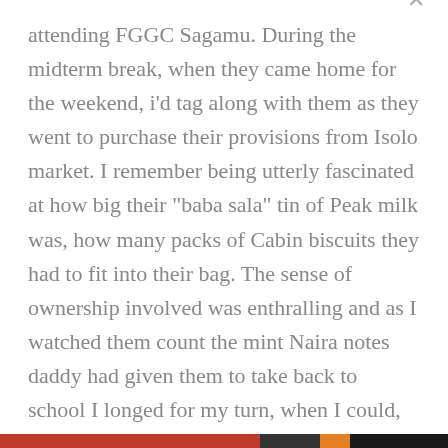attending FGGC Sagamu. During the midterm break, when they came home for the weekend, i'd tag along with them as they went to purchase their provisions from Isolo market. I remember being utterly fascinated at how big their “baba sala” tin of Peak milk was, how many packs of Cabin biscuits they had to fit into their bag. The sense of ownership involved was enthralling and as I watched them count the mint Naira notes daddy had given them to take back to school I longed for my turn, when I could, finally own my
Privacy & Cookies: This site uses cookies. By continuing to use this website, you agree to their use.
To find out more, including how to control cookies, see here: Cookie Policy
Close and accept